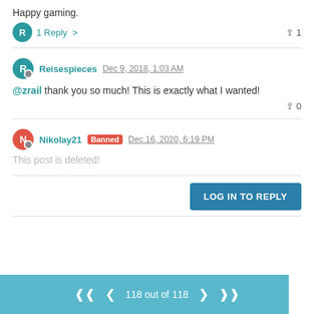Happy gaming.
1 Reply
1
Reisespieces Dec 9, 2018, 1:03 AM
@zrail thank you so much! This is exactly what I wanted!
0
Nikolay21 Banned Dec 16, 2020, 6:19 PM
This post is deleted!
LOG IN TO REPLY
118 out of 118